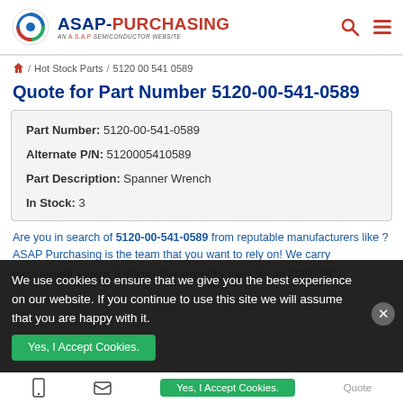ASAP-PURCHASING AN A.S.A.P SEMICONDUCTOR WEBSITE
/ Hot Stock Parts / 5120 00 541 0589
Quote for Part Number 5120-00-541-0589
| Part Number: | 5120-00-541-0589 |
| Alternate P/N: | 5120005410589 |
| Part Description: | Spanner Wrench |
| In Stock: | 3 |
Are you in search of 5120-00-541-0589 from reputable manufacturers like ? ASAP Purchasing is the team that you want to rely on! We carry parts as well as over 6 billion other airworthy parts. As an AS9120B,
We use cookies to ensure that we give you the best experience on our website. If you continue to use this site we will assume that you are happy with it.
Yes, I Accept Cookies.  Quote